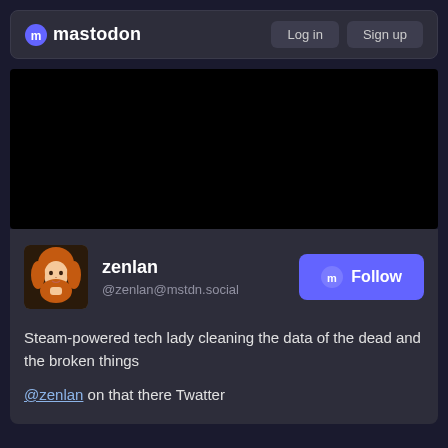mastodon  Log in  Sign up
[Figure (photo): Dark/black image area, likely a banner or cover photo with dark content]
zenlan
@zenlan@mstdn.social
Steam-powered tech lady cleaning the data of the dead and the broken things
@zenlan on that there Twatter